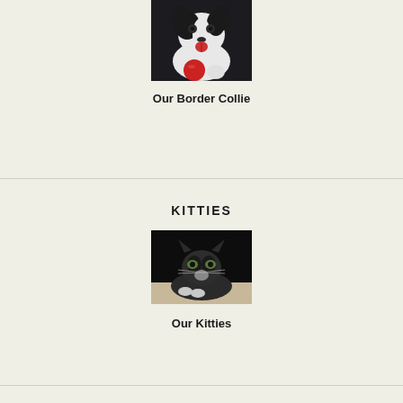[Figure (photo): Photo of a black and white Border Collie dog with tongue out, holding a red ball, dark background]
Our Border Collie
KITTIES
[Figure (photo): Photo of a dark tabby/tuxedo cat lying low on a light surface, looking at the camera, dark background]
Our Kitties